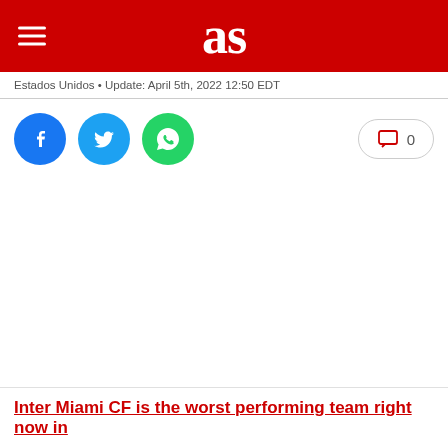as
Estados Unidos • Update: April 5th, 2022 12:50 EDT
[Figure (other): Social media share buttons: Facebook (blue circle), Twitter (light blue circle), WhatsApp (green circle), and a comment button showing 0 comments]
Inter Miami CF is the worst performing team right now in